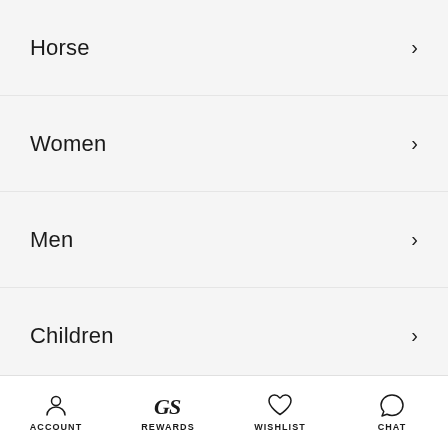Horse
Women
Men
Children
Stable & Yard
Nutrition
Pets
Gifts
Brands
ACCOUNT   REWARDS   WISHLIST   CHAT